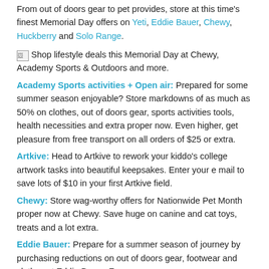From out of doors gear to pet provides, store at this time's finest Memorial Day offers on Yeti, Eddie Bauer, Chewy, Huckberry and Solo Range.
[Figure (photo): Shop lifestyle deals this Memorial Day at Chewy, Academy Sports & Outdoors and more.]
Academy Sports activities + Open air: Prepared for some summer season enjoyable? Store markdowns of as much as 50% on clothes, out of doors gear, sports activities tools, health necessities and extra proper now. Even higher, get pleasure from free transport on all orders of $25 or extra.
Artkive: Head to Artkive to rework your kiddo's college artwork tasks into beautiful keepsakes. Enter your e mail to save lots of $10 in your first Artkive field.
Chewy: Store wag-worthy offers for Nationwide Pet Month proper now at Chewy. Save huge on canine and cat toys, treats and a lot extra.
Eddie Bauer: Prepare for a summer season of journey by purchasing reductions on out of doors gear, footwear and clothes at Eddie Bauer. For